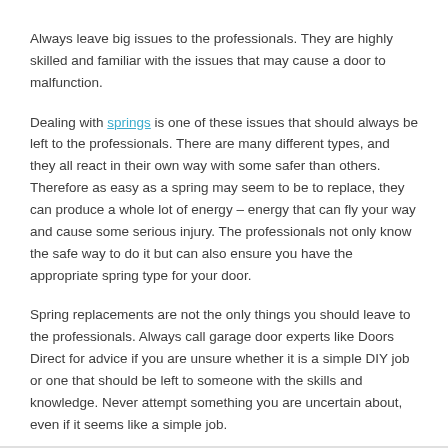Always leave big issues to the professionals. They are highly skilled and familiar with the issues that may cause a door to malfunction.
Dealing with springs is one of these issues that should always be left to the professionals. There are many different types, and they all react in their own way with some safer than others. Therefore as easy as a spring may seem to be to replace, they can produce a whole lot of energy – energy that can fly your way and cause some serious injury. The professionals not only know the safe way to do it but can also ensure you have the appropriate spring type for your door.
Spring replacements are not the only things you should leave to the professionals. Always call garage door experts like Doors Direct for advice if you are unsure whether it is a simple DIY job or one that should be left to someone with the skills and knowledge. Never attempt something you are uncertain about, even if it seems like a simple job.